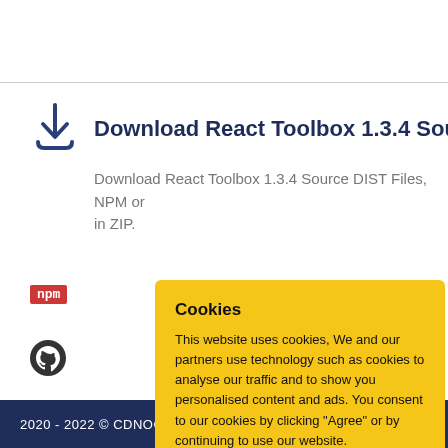Download React Toolbox 1.3.4 Source Files
Download React Toolbox 1.3.4 Source DIST Files, NPM or in ZIP.
npm
[Figure (logo): GitHub logo icon]
Cookies
This website uses cookies, We and our partners use technology such as cookies to analyse our traffic and to show you personalised content and ads. You consent to our cookies by clicking "Agree" or by continuing to use our website.
AGREE
Cookies Policy
2020 - 2022 © CDNOOT.COM